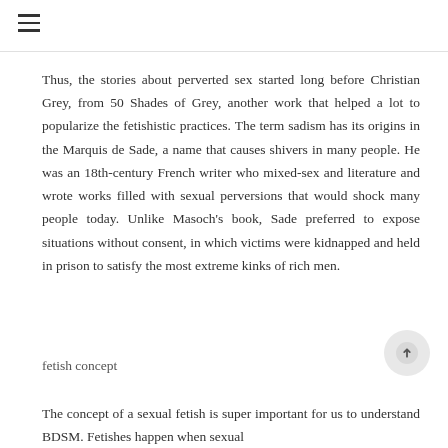≡
Thus, the stories about perverted sex started long before Christian Grey, from 50 Shades of Grey, another work that helped a lot to popularize the fetishistic practices. The term sadism has its origins in the Marquis de Sade, a name that causes shivers in many people. He was an 18th-century French writer who mixed-sex and literature and wrote works filled with sexual perversions that would shock many people today. Unlike Masoch's book, Sade preferred to expose situations without consent, in which victims were kidnapped and held in prison to satisfy the most extreme kinks of rich men.
fetish concept
The concept of a sexual fetish is super important for us to understand BDSM. Fetishes happen when sexual